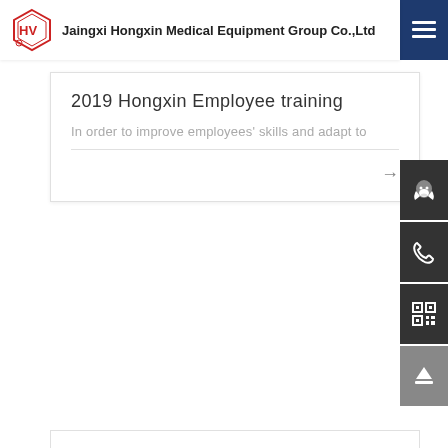Jaingxi Hongxin Medical Equipment Group Co.,Ltd
2019 Hongxin Employee training
In order to improve employees' skills and adapt to